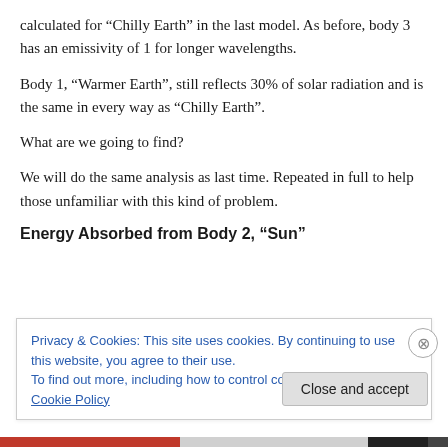calculated for “Chilly Earth” in the last model. As before, body 3 has an emissivity of 1 for longer wavelengths.
Body 1, “Warmer Earth”, still reflects 30% of solar radiation and is the same in every way as “Chilly Earth”.
What are we going to find?
We will do the same analysis as last time. Repeated in full to help those unfamiliar with this kind of problem.
Energy Absorbed from Body 2, “Sun”
Privacy & Cookies: This site uses cookies. By continuing to use this website, you agree to their use.
To find out more, including how to control cookies, see here: Cookie Policy